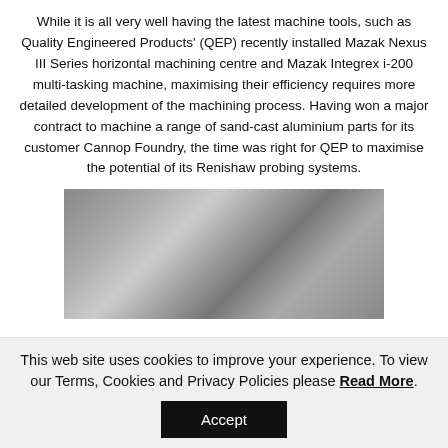While it is all very well having the latest machine tools, such as Quality Engineered Products' (QEP) recently installed Mazak Nexus III Series horizontal machining centre and Mazak Integrex i-200 multi-tasking machine, maximising their efficiency requires more detailed development of the machining process. Having won a major contract to machine a range of sand-cast aluminium parts for its customer Cannop Foundry, the time was right for QEP to maximise the potential of its Renishaw probing systems.
[Figure (photo): Industrial machinery or machining centre interior, showing metal components and tubing, photographed from above/inside.]
This web site uses cookies to improve your experience. To view our Terms, Cookies and Privacy Policies please Read More.
Accept